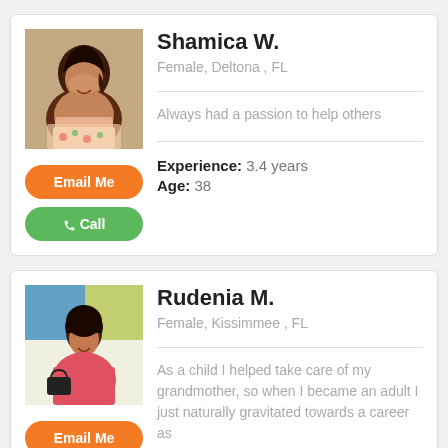[Figure (photo): Profile photo of Shamica W., a woman with dark hair, smiling, wearing a floral top]
Shamica W.
Female, Deltona , FL
Always had a passion to help others
Experience: 3.4 years
Age: 38
[Figure (photo): Profile photo of Rudenia M., a woman in a red/pink dress holding a bag, standing in front of a colorful wall]
Rudenia M.
Female, Kissimmee , FL
As a child I helped take care of my grandmother, so when I became an adult I just naturally gravitated towards a career as